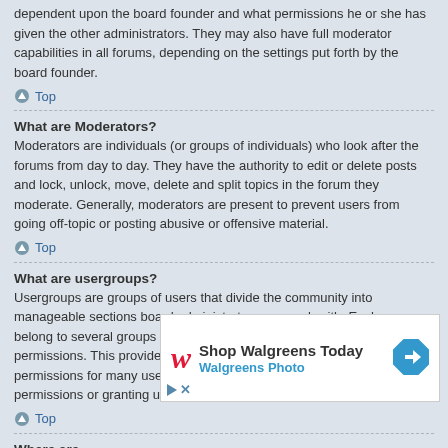dependent upon the board founder and what permissions he or she has given the other administrators. They may also have full moderator capabilities in all forums, depending on the settings put forth by the board founder.
Top
What are Moderators?
Moderators are individuals (or groups of individuals) who look after the forums from day to day. They have the authority to edit or delete posts and lock, unlock, move, delete and split topics in the forum they moderate. Generally, moderators are present to prevent users from going off-topic or posting abusive or offensive material.
Top
What are usergroups?
Usergroups are groups of users that divide the community into manageable sections board administrators can work with. Each user can belong to several groups and each group can be assigned individual permissions. This provides an easy way for administrators to change permissions for many users at once, such as changing moderator permissions or granting users access to a private forum.
Top
Where are
You can vi
[Figure (infographic): Advertisement banner for Walgreens Photo: 'Shop Walgreens Today' with Walgreens logo and navigation icon]